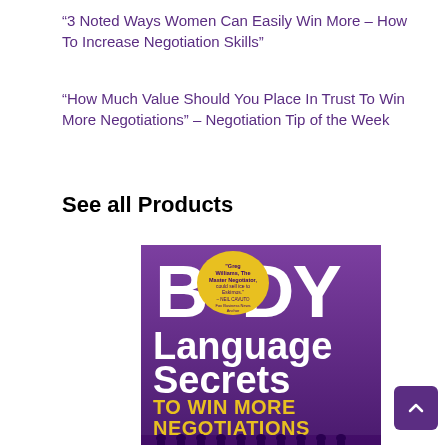“3 Noted Ways Women Can Easily Win More – How To Increase Negotiation Skills”
“How Much Value Should You Place In Trust To Win More Negotiations” – Negotiation Tip of the Week
See all Products
[Figure (photo): Book cover: Body Language Secrets TO WIN MORE NEGOTIATIONS, purple background with silhouettes of people negotiating and a yellow badge quote from Neil Cavuto]